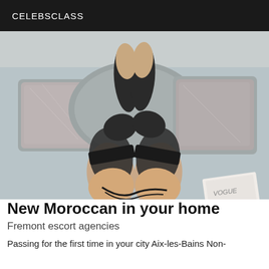CELEBSCLASS
[Figure (photo): Person lying on a bed/sofa wearing black lingerie and stockings, with decorative pillows and holding a magazine]
New Moroccan in your home
Fremont escort agencies
Passing for the first time in your city Aix-les-Bains Non-